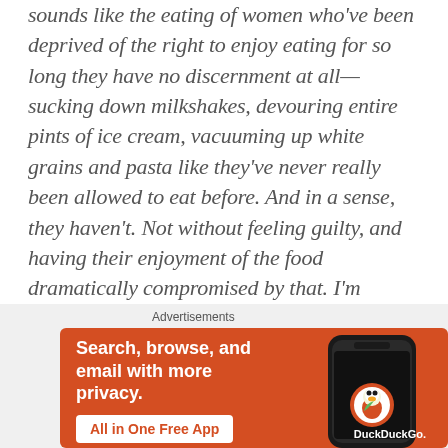sounds like the eating of women who've been deprived of the right to enjoy eating for so long they have no discernment at all—sucking down milkshakes, devouring entire pints of ice cream, vacuuming up white grains and pasta like they've never really been allowed to eat before. And in a sense, they haven't. Not without feeling guilty, and having their enjoyment of the food dramatically compromised by that. I'm inclined to think that binge eating isn't a matter of being a bad
[Figure (screenshot): DuckDuckGo advertisement banner: orange background with white bold text 'Search, browse, and email with more privacy.' and a white button 'All in One Free App'. Right side shows a dark smartphone with DuckDuckGo duck logo.]